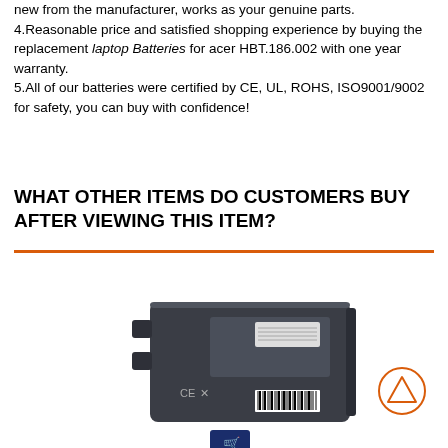new from the manufacturer, works as your genuine parts. 4.Reasonable price and satisfied shopping experience by buying the replacement laptop Batteries for acer HBT.186.002 with one year warranty. 5.All of our batteries were certified by CE, UL, ROHS, ISO9001/9002 for safety, you can buy with confidence!
WHAT OTHER ITEMS DO CUSTOMERS BUY AFTER VIEWING THIS ITEM?
[Figure (photo): Photo of a dark gray laptop battery (replacement battery for Acer) with CE marking and barcode label visible on the bottom. A shopping cart icon is partially visible at the bottom center.]